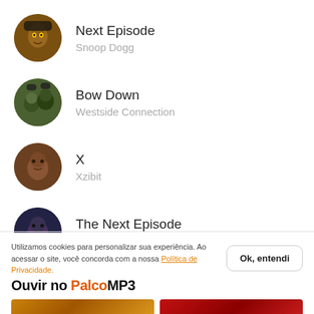Next Episode — Snoop Dogg
Bow Down — Westside Connection
X — Xzibit
The Next Episode — Dr. Dre
Utilizamos cookies para personalizar sua experiência. Ao acessar o site, você concorda com a nossa Política de Privacidade.
Ok, entendi
Ouvir no PalcoMP3